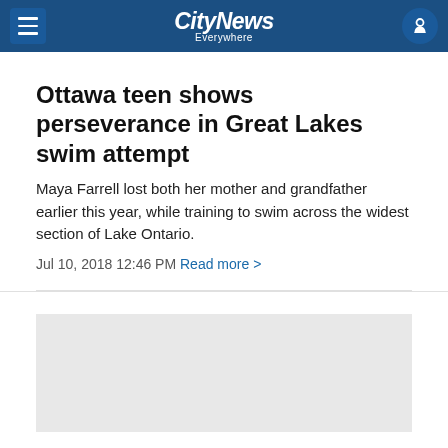CityNews Everywhere
Ottawa teen shows perseverance in Great Lakes swim attempt
Maya Farrell lost both her mother and grandfather earlier this year, while training to swim across the widest section of Lake Ontario.
Jul 10, 2018 12:46 PM  Read more >
Arrests made after violent carjacking in